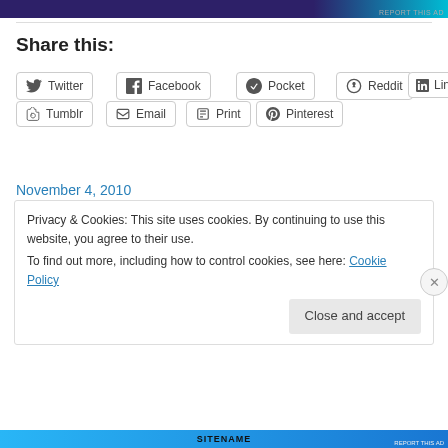[Figure (other): Advertisement bar at top with dark purple/blue gradient and teal corner]
Share this:
Twitter
Facebook
Pocket
Reddit
LinkedIn
Tumblr
Email
Print
Pinterest
November 4, 2010
Privacy & Cookies: This site uses cookies. By continuing to use this website, you agree to their use.
To find out more, including how to control cookies, see here: Cookie Policy
Close and accept